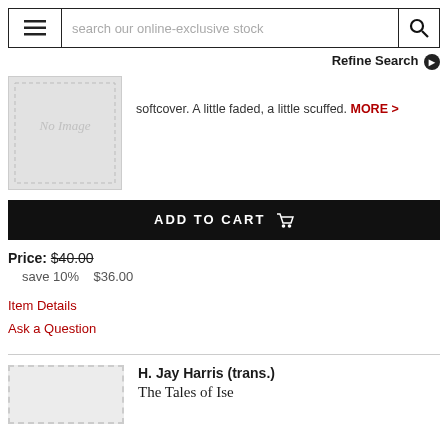search our online-exclusive stock
Refine Search
softcover. A little faded, a little scuffed. MORE >
ADD TO CART
Price: $40.00
save 10%   $36.00
Item Details
Ask a Question
H. Jay Harris (trans.)
The Tales of Ise